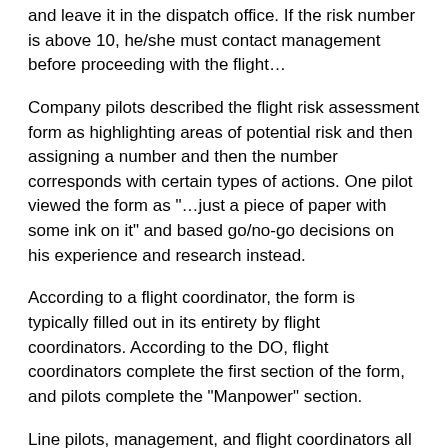and leave it in the dispatch office. If the risk number is above 10, he/she must contact management before proceeding with the flight…
Company pilots described the flight risk assessment form as highlighting areas of potential risk and then assigning a number and then the number corresponds with certain types of actions. One pilot viewed the form as "…just a piece of paper with some ink on it" and based go/no-go decisions on his experience and research instead.
According to a flight coordinator, the form is typically filled out in its entirety by flight coordinators. According to the DO, flight coordinators complete the first section of the form, and pilots complete the "Manpower" section.
Line pilots, management, and flight coordinators all stated that the pilot has the authority to change, add, or update information to the form. While dispatch and management believed that pilots provided feedback to the assessment often, line pilots stated that while they all had the authority to make changes, none could recall an instance where they